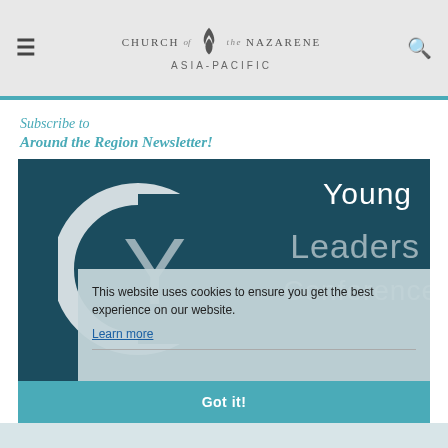CHURCH OF THE NAZARENE ASIA-PACIFIC
Subscribe to
Around the Region Newsletter!
[Figure (illustration): Young Leaders Conference promotional banner with large circular logo and text on dark teal background, partially obscured by cookie consent overlay]
This website uses cookies to ensure you get the best experience on our website.
Learn more
Got it!